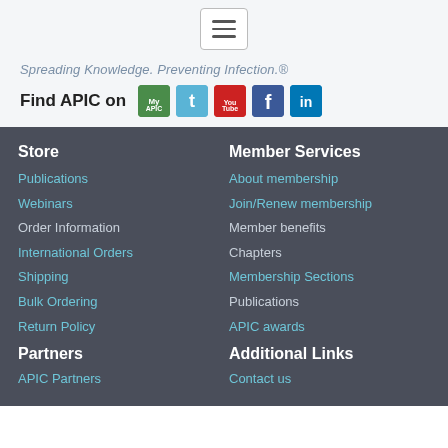Spreading Knowledge. Preventing Infection.®
Find APIC on
Store
Publications
Webinars
Order Information
International Orders
Shipping
Bulk Ordering
Return Policy
Member Services
About membership
Join/Renew membership
Member benefits
Chapters
Membership Sections
Publications
APIC awards
Partners
Additional Links
APIC Partners
Contact us